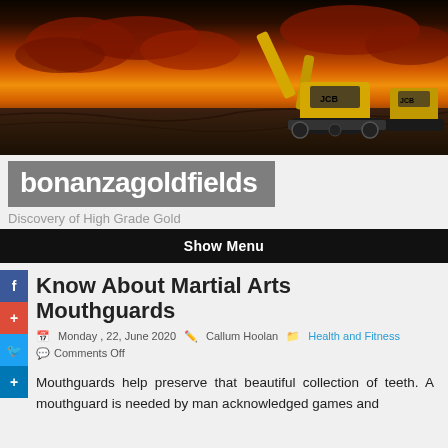[Figure (photo): Banner photo of a JCB yellow excavator against a dramatic orange and red sunset sky, with dark earth in the foreground]
bonanzagoldfields
Discovery of High Grade Gold
Show Menu
Know About Martial Arts Mouthguards
Monday , 22, June 2020   Callum Hoolan   Health and Fitness
Comments Off
Mouthguards help preserve that beautiful collection of teeth. A mouthguard is needed by man acknowledged games and